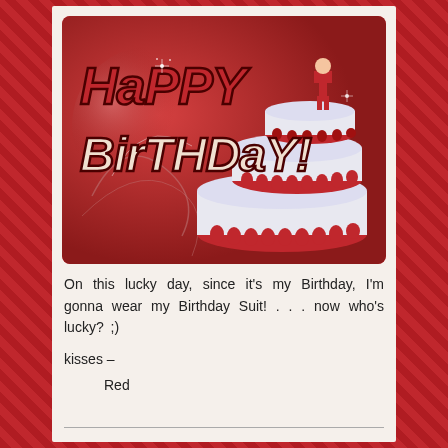[Figure (illustration): A birthday card image with a red background showing a three-tier white and red decorated cake with red heart decorations. The text 'HaPPY' appears at the top in large stylized letters with dark outlines, and 'BirTHDaY!' appears below it in large stylized letters. A cartoon figure stands on top of the cake.]
On this lucky day, since it's my Birthday, I'm gonna wear my Birthday Suit!  . . . now who's lucky? ;)
kisses —
Red